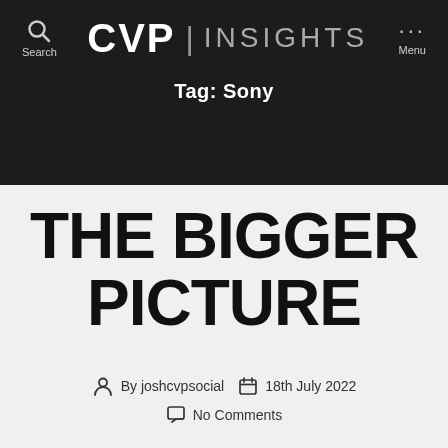CVP | INSIGHTS
Tag: Sony
THE BIGGER PICTURE
By joshcvpsocial  18th July 2022  No Comments